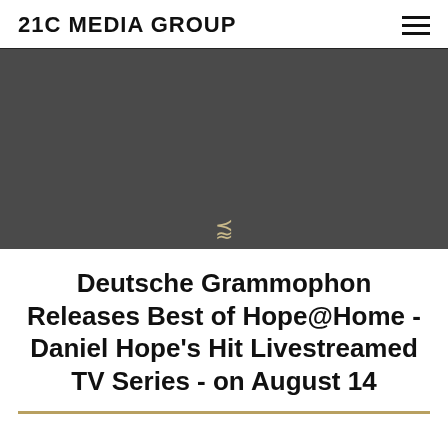21C MEDIA GROUP
[Figure (photo): Dark gray hero image with a downward chevron arrow in gold/white at the bottom center]
Deutsche Grammophon Releases Best of Hope@Home - Daniel Hope's Hit Livestreamed TV Series - on August 14